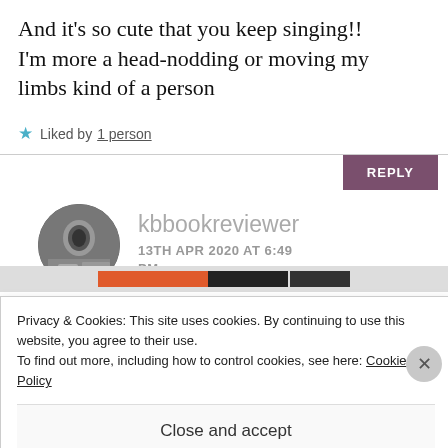And it's so cute that you keep singing!! I'm more a head-nodding or moving my limbs kind of a person
★ Liked by 1 person
REPLY
kbbookreviewer
13TH APR 2020 AT 6:49 PM
Privacy & Cookies: This site uses cookies. By continuing to use this website, you agree to their use.
To find out more, including how to control cookies, see here: Cookie Policy
Close and accept